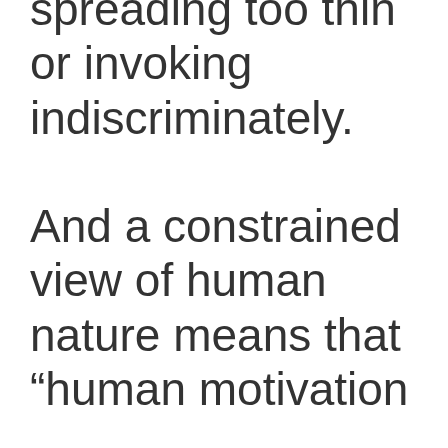spreading too thin or invoking indiscriminately. And a constrained view of human nature means that “human motivation